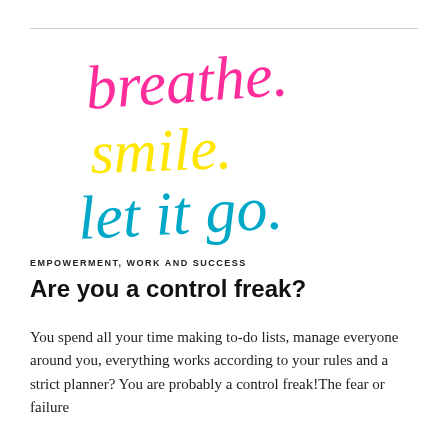[Figure (illustration): Colorful handwritten-style text art. 'breathe.' in pink/magenta on top, 'smile.' in yellow in the middle, 'let it go.' in teal/cyan at the bottom.]
EMPOWERMENT, WORK AND SUCCESS
Are you a control freak?
You spend all your time making to-do lists, manage everyone around you, everything works according to your rules and a strict planner? You are probably a control freak!The fear or failure